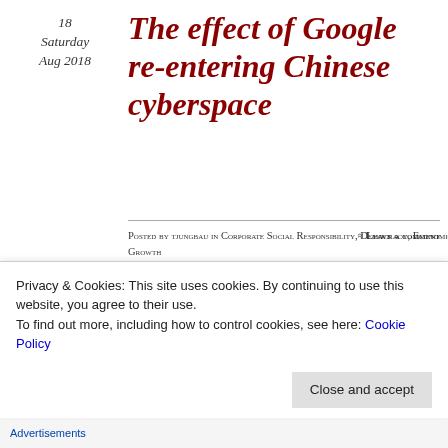18
Saturday
Aug 2018
The effect of Google re-entering Chinese cyberspace
Posted by tjungbau in Corporate Social Responsibility, Democracy, Economic Growth
≈ Leave a comment
My fellow interviewee and former Google employee Brendan Downey made some very good points when speaking on BBC Newsnight yesterday. Btw shout out to the BBC for promoting me to Associate Professor.
Tags
Privacy & Cookies: This site uses cookies. By continuing to use this website, you agree to their use.
To find out more, including how to control cookies, see here: Cookie Policy
Close and accept
Advertisements